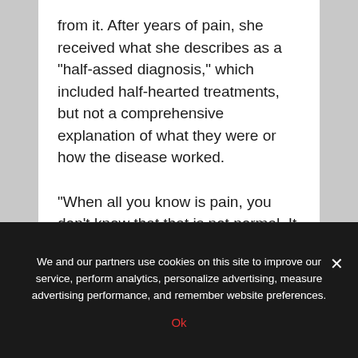from it. After years of pain, she received what she describes as a "half-assed diagnosis," which included half-hearted treatments, but not a comprehensive explanation of what they were or how the disease worked.

"When all you know is pain, you don't know that that is not normal. It is not a woman's lot to suffer, even if we've been raised that way," she said at the Endometriosis Foundation of America's 3rd Blossom in 2011.
We and our partners use cookies on this site to improve our service, perform analytics, personalize advertising, measure advertising performance, and remember website preferences.
Ok